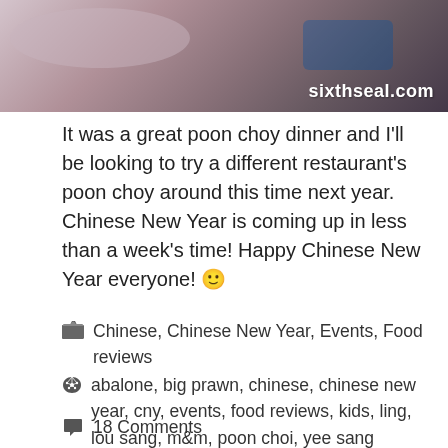[Figure (photo): A photo of a dining table with dishes, plates, and food at a poon choy dinner. Watermark 'sixthseal.com' visible in the bottom right corner of the image.]
It was a great poon choy dinner and I'll be looking to try a different restaurant's poon choy around this time next year. Chinese New Year is coming up in less than a week's time! Happy Chinese New Year everyone! 🙂
Chinese, Chinese New Year, Events, Food reviews
abalone, big prawn, chinese, chinese new year, cny, events, food reviews, kids, ling, lou sang, m&m, poon choi, yee sang
18 Comments